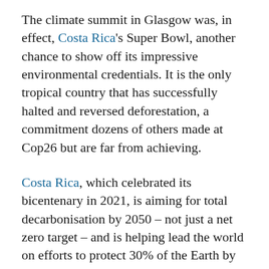The climate summit in Glasgow was, in effect, Costa Rica's Super Bowl, another chance to show off its impressive environmental credentials. It is the only tropical country that has successfully halted and reversed deforestation, a commitment dozens of others made at Cop26 but are far from achieving.
Costa Rica, which celebrated its bicentenary in 2021, is aiming for total decarbonisation by 2050 – not just a net zero target – and is helping lead the world on efforts to protect 30% of the Earth by the end of this decade. From Christiana Figueres, who was head of the UN climate convention, to...